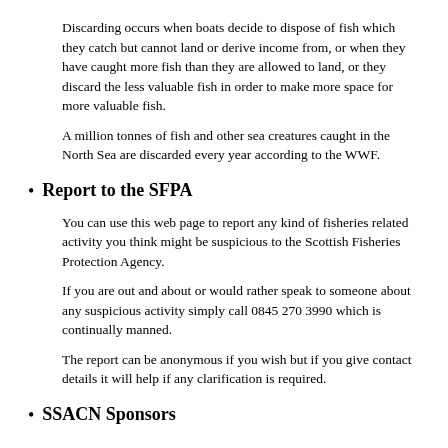Discarding occurs when boats decide to dispose of fish which they catch but cannot land or derive income from, or when they have caught more fish than they are allowed to land, or they discard the less valuable fish in order to make more space for more valuable fish.
A million tonnes of fish and other sea creatures caught in the North Sea are discarded every year according to the WWF.
Report to the SFPA
You can use this web page to report any kind of fisheries related activity you think might be suspicious to the Scottish Fisheries Protection Agency.
If you are out and about or would rather speak to someone about any suspicious activity simply call 0845 270 3990 which is continually manned.
The report can be anonymous if you wish but if you give contact details it will help if any clarification is required.
SSACN Sponsors